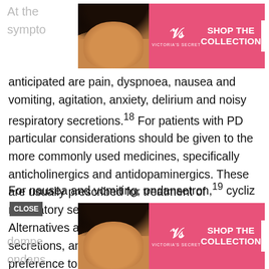At the ... ntial sympto ... ms
[Figure (photo): Victoria's Secret advertisement banner at the top of the page showing a model and SHOP THE COLLECTION / SHOP NOW button]
anticipated are pain, dyspnoea, nausea and vomiting, agitation, anxiety, delirium and noisy respiratory secretions.18 For patients with PD particular considerations should be given to the more commonly used medicines, specifically anticholinergics and antidopaminergics. These are usually prescribed for treatment of respiratory secretions and nausea and vomiting. Alternatives are available for respiratory secretions, and include glycopyrronium, in preference to hyoscine hydrobromide. Although this is an anticholinergic, only a small proportion crosses the blood brain barrier.
For nausea and vomiting, ondansetron,19 cycliz [CLOSE button] dompe ... er, ondans ... done